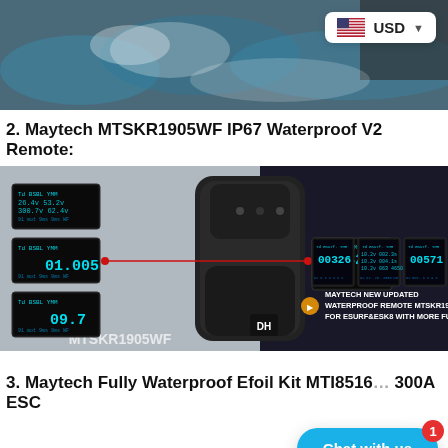[Figure (photo): Top banner image showing water/action scene with a currency selector badge showing USD and US flag]
2. Maytech MTSKR1905WF IP67 Waterproof V2 Remote:
[Figure (photo): Product image of Maytech MTSKR1905WF waterproof remote control with OLED display screens showing various readings (00326, 01.005, 09.7, 00571) and text: MAYTECH NEW UPDATED WATERPROOF REMOTE MTSKR1905WF FOR ESURF&ESK8 WITH MORE FUNCTIONS]
3. Maytech Fully Waterproof Efoil Kit MTI8516… 300A ESC